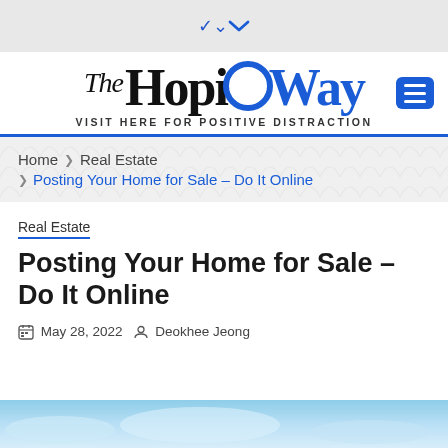▾
[Figure (logo): The HopiWay logo with tagline 'VISIT HERE FOR POSITIVE DISTRACTION' and a blue hamburger menu button]
Home › Real Estate › Posting Your Home for Sale – Do It Online
Real Estate
Posting Your Home for Sale – Do It Online
May 28, 2022  Deokhee Jeong
[Figure (photo): Partial sky/blue image at the bottom of the page]